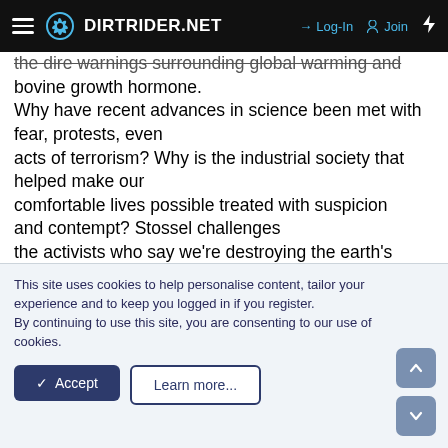DIRTRIDER.NET  Log-In  Join
the dire warnings surrounding global warming and bovine growth hormone. Why have recent advances in science been met with fear, protests, even acts of terrorism? Why is the industrial society that helped make our comfortable lives possible treated with suspicion and contempt? Stossel challenges the activists who say we're destroying the earth's ecosystem with everything from genetic engineering to greenhouse gases. Tampering with Nature airs FRIDAY, June 29, 10-11 p.m. ET on the ABC
This site uses cookies to help personalise content, tailor your experience and to keep you logged in if you register.
By continuing to use this site, you are consenting to our use of cookies.
✓ Accept   Learn more...